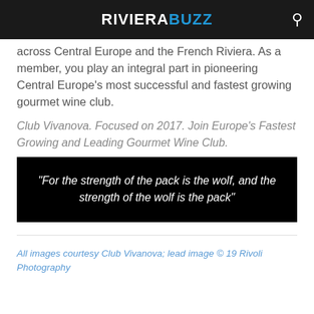RIVIERA BUZZ
across Central Europe and the French Riviera. As a member, you play an integral part in pioneering Central Europe's most successful and fastest growing gourmet wine club.
Club Vivanova. Focused on 2017. Join Europe's Fastest Growing and Leading Gourmet Wine Club.
“For the strength of the pack is the wolf, and the strength of the wolf is the pack”
All images courtesy Club Vivanova; lead image © 19 Rivoli Photography